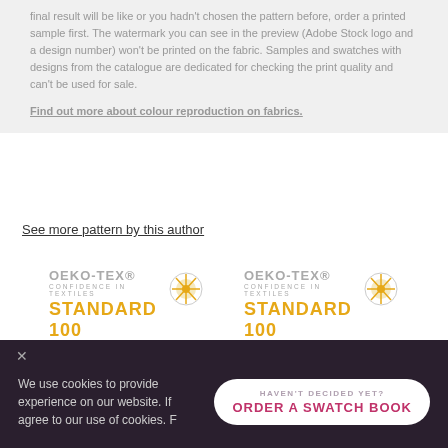final result will be like or you hadn't chosen the pattern before, order a printed sample first. The watermark you can see in the preview (Adobe Stock logo and a design number) won't be printed on the fabric. Samples and swatches with designs from the catalogue are dedicated for checking the print quality and can't be used for sale.
Find out more about colour reproduction on fabrics.
See more pattern by this author
[Figure (logo): OEKO-TEX STANDARD 100 badge left — IW 00399 Łukasiewicz-ŁIT]
[Figure (logo): OEKO-TEX STANDARD 100 badge right — IW 00401 Łukasiewicz-ŁIT]
[Figure (logo): GOTS Organic Textile logo partially visible at bottom]
We use cookies to provide experience on our website. If agree to our use of cookies. F
HAVEN'T DECIDED YET? ORDER A SWATCH BOOK